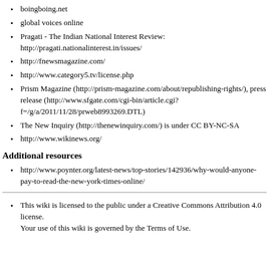boingboing.net
global voices online
Pragati - The Indian National Interest Review: http://pragati.nationalinterest.in/issues/
http://fnewsmagazine.com/
http://www.category5.tv/license.php
Prism Magazine (http://prism-magazine.com/about/republishing-rights/), press release (http://www.sfgate.com/cgi-bin/article.cgi?f=/g/a/2011/11/28/prweb8993269.DTL)
The New Inquiry (http://thenewinquiry.com/) is under CC BY-NC-SA
http://www.wikinews.org/
Additional resources
http://www.poynter.org/latest-news/top-stories/142936/why-would-anyone-pay-to-read-the-new-york-times-online/
This wiki is licensed to the public under a Creative Commons Attribution 4.0 license.
Your use of this wiki is governed by the Terms of Use.